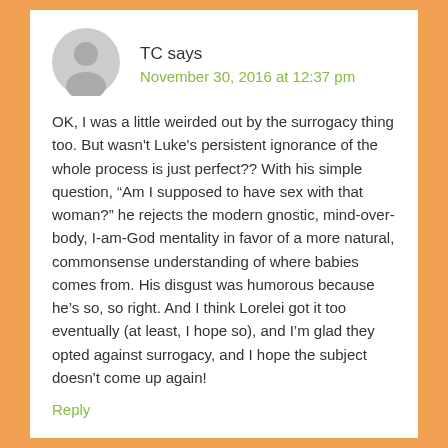[Figure (illustration): Generic user avatar icon — gray silhouette of a person on a light gray circle background]
TC says
November 30, 2016 at 12:37 pm
OK, I was a little weirded out by the surrogacy thing too. But wasn't Luke's persistent ignorance of the whole process is just perfect?? With his simple question, “Am I supposed to have sex with that woman?” he rejects the modern gnostic, mind-over-body, I-am-God mentality in favor of a more natural, commonsense understanding of where babies comes from. His disgust was humorous because he’s so, so right. And I think Lorelei got it too eventually (at least, I hope so), and I’m glad they opted against surrogacy, and I hope the subject doesn't come up again!
Reply